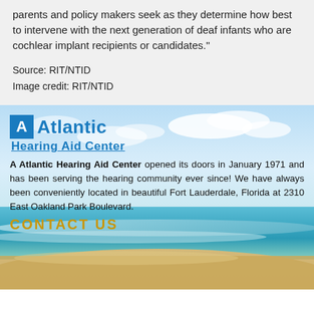parents and policy makers seek as they determine how best to intervene with the next generation of deaf infants who are cochlear implant recipients or candidates."
Source: RIT/NTID
Image credit: RIT/NTID
[Figure (photo): Beach scene with blue sky, clouds, turquoise water, and sandy shore — background image for Atlantic Hearing Aid Center advertisement section]
A Atlantic Hearing Aid Center
A Atlantic Hearing Aid Center opened its doors in January 1971 and has been serving the hearing community ever since! We have always been conveniently located in beautiful Fort Lauderdale, Florida at 2310 East Oakland Park Boulevard.
CONTACT US